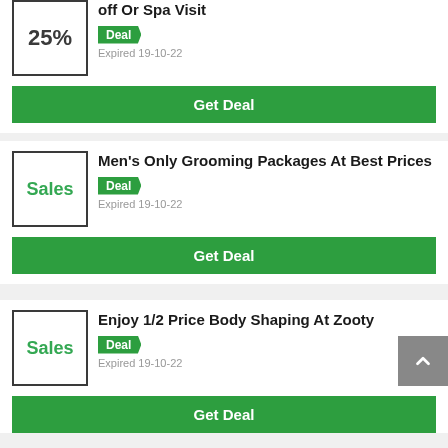25%
off Or Spa Visit
Deal
Expired 19-10-22
Get Deal
Sales
Men's Only Grooming Packages At Best Prices
Deal
Expired 19-10-22
Get Deal
Sales
Enjoy 1/2 Price Body Shaping At Zooty
Deal
Expired 19-10-22
Get Deal
Up To Half Savings At Salon Services